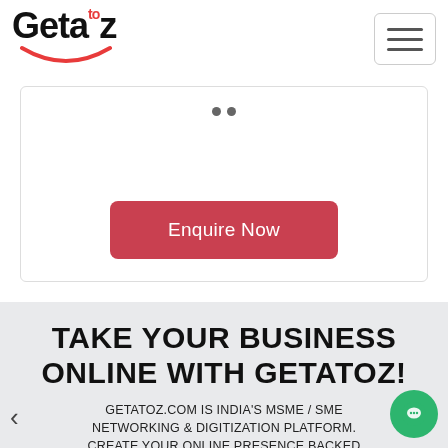[Figure (logo): Getaoz logo with stylized text 'Geta to z' and red smile underline graphic]
[Figure (other): Hamburger/toggle navigation menu button]
[Figure (other): Carousel card section with two dots indicator and an Enquire Now red button]
TAKE YOUR BUSINESS ONLINE WITH GETATOZ!
GETATOZ.COM IS INDIA'S MSME / SME NETWORKING & DIGITIZATION PLATFORM. CREATE YOUR ONLINE PRESENCE BACKED BY POWERFUL TOOLS TO FIND CUSTOMERS, DRIVE SALES AND MANAGE LEADS